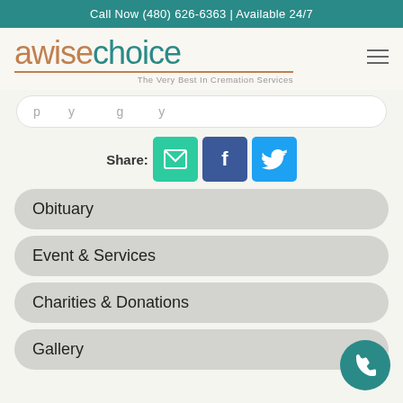Call Now (480) 626-6363 | Available 24/7
[Figure (logo): A Wise Choice cremation services logo with teal and brown/orange colors, tagline: The Very Best In Cremation Services]
[partially visible text line]
Share:
Obituary
Event & Services
Charities & Donations
Gallery